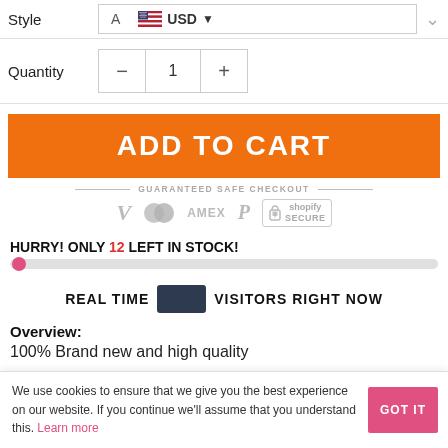| Style |  |  |
| --- | --- | --- |
| Style | A | 🇺🇸 USD ▾ |
| Quantity | − | 1 | + |
| --- | --- | --- | --- |
ADD TO CART
[Figure (infographic): Guaranteed Safe Checkout badge with Visa, Mastercard, AMEX, PayPal, and Shopify Secure logos]
HURRY! ONLY 12 LEFT IN STOCK!
[Figure (infographic): Stock progress bar showing very low inventory — dot near left end of grey bar]
REAL TIME [badge] VISITORS RIGHT NOW
Overview:
100% Brand new and high quality
We use cookies to ensure that we give you the best experience on our website. If you continue we'll assume that you understand this. Learn more